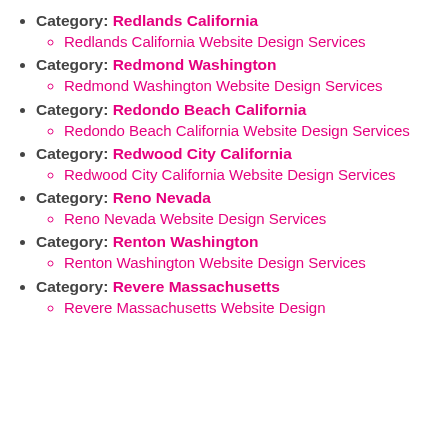Category: Redlands California
Redlands California Website Design Services
Category: Redmond Washington
Redmond Washington Website Design Services
Category: Redondo Beach California
Redondo Beach California Website Design Services
Category: Redwood City California
Redwood City California Website Design Services
Category: Reno Nevada
Reno Nevada Website Design Services
Category: Renton Washington
Renton Washington Website Design Services
Category: Revere Massachusetts
Revere Massachusetts Website Design